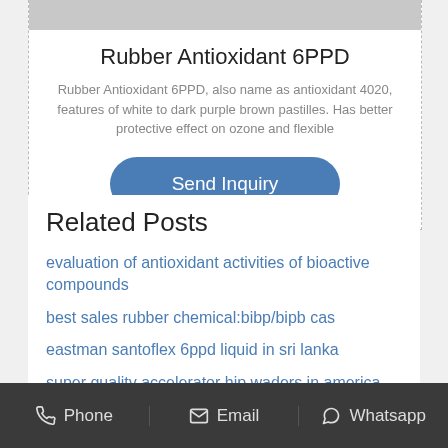[Figure (other): Gray product image placeholder at top of card]
Rubber Antioxidant 6PPD
Rubber Antioxidant 6PPD, also name as antioxidant 4020, features of white to dark purple brown pastilles. Has better protective effect on ozone and flexible
Send Inquiry
Related Posts
evaluation of antioxidant activities of bioactive compounds
best sales rubber chemical:bibp/bipb cas
eastman santoflex 6ppd liquid in sri lanka
super quality accelerator hip waders in america
Phone   Email   Whatsapp